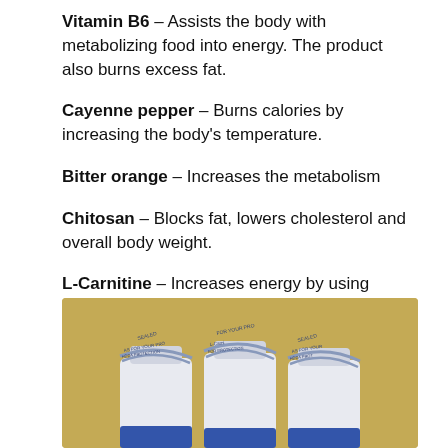Vitamin B6 – Assists the body with metabolizing food into energy. The product also burns excess fat.
Cayenne pepper – Burns calories by increasing the body's temperature.
Bitter orange – Increases the metabolism
Chitosan – Blocks fat, lowers cholesterol and overall body weight.
L-Carnitine – Increases energy by using stored body fat and distributing it into the bloodstream.
[Figure (photo): Three white supplement bottles with sealed tops on a tan/gold background]